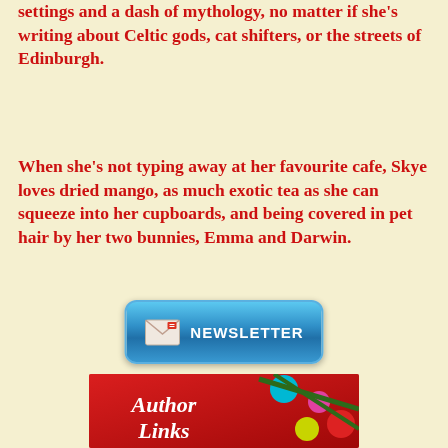settings and a dash of mythology, no matter if she's writing about Celtic gods, cat shifters, or the streets of Edinburgh.
When she's not typing away at her favourite cafe, Skye loves dried mango, as much exotic tea as she can squeeze into her cupboards, and being covered in pet hair by her two bunnies, Emma and Darwin.
[Figure (illustration): A blue rounded-rectangle newsletter signup button with an envelope icon and the text NEWSLETTER in white bold letters]
[Figure (illustration): A festive red background image with colorful Christmas ornaments and green pine branches, with white italic cursive text reading 'Author Links']